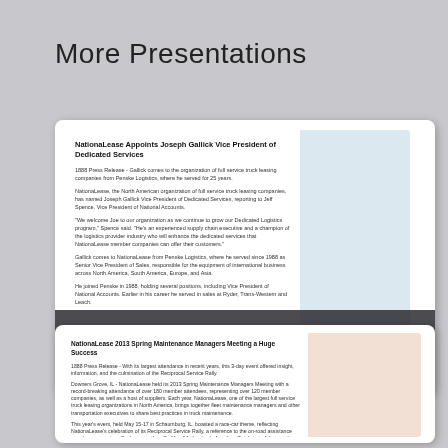More Presentations
[Figure (screenshot): Document preview card for 'NationaLease Appoints Joseph Gallick Vice President of Dedicated Services' with dark overlay showing author 'By donaldhood' and 'Published May 23, 2013']
[Figure (screenshot): Document preview card for 'NationaLease 2013 Spring Maintenance Managers Meeting a Huge Success' press release preview]